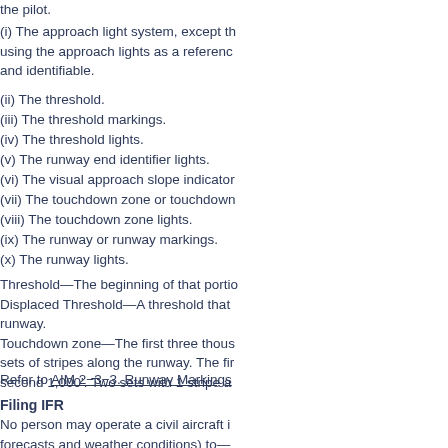the pilot.
(i) The approach light system, except th... using the approach lights as a referenc... and identifiable.
(ii) The threshold.
(iii) The threshold markings.
(iv) The threshold lights.
(v) The runway end identifier lights.
(vi) The visual approach slope indicator...
(vii) The touchdown zone or touchdown...
(viii) The touchdown zone lights.
(ix) The runway or runway markings.
(x) The runway lights.
Threshold—The beginning of that portio... Displaced Threshold—A threshold that... runway. Touchdown zone—The first three thous... sets of stripes along the runway. The fir... second 1,000'. Two sets with 1 stripe a...
Refer to AIM 2−3−3. Runway Markings
Filing IFR
No person may operate a civil aircraft i... forecasts and weather conditions) to— Complete the flight to the first airport of...